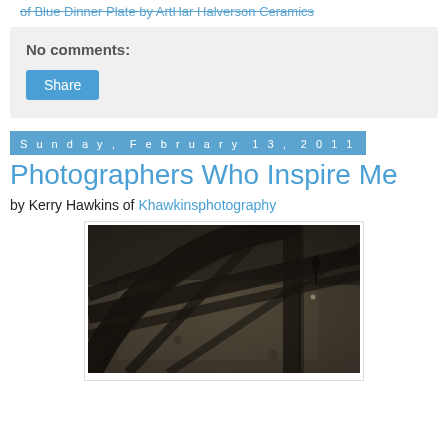of Blue Dinner Plate by ArtHar Halverson Ceramics
No comments:
Share
Sunday, February 13, 2011
Photographers Who Inspire Me
by Kerry Hawkins of Khawkinsphotography
[Figure (photo): Black and white / sepia toned photograph showing geometric shadows of a metal structure (possibly Eiffel Tower base) cast on a stone surface, with a small human figure visible in the background.]